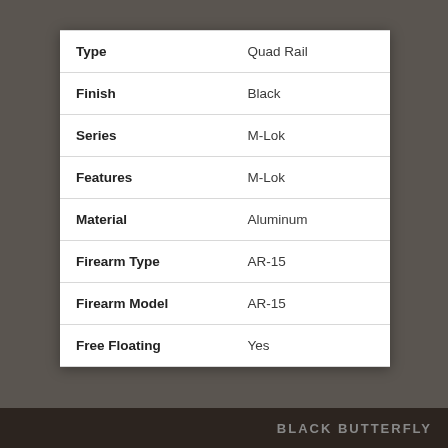| Attribute | Value |
| --- | --- |
| Type | Quad Rail |
| Finish | Black |
| Series | M-Lok |
| Features | M-Lok |
| Material | Aluminum |
| Firearm Type | AR-15 |
| Firearm Model | AR-15 |
| Free Floating | Yes |